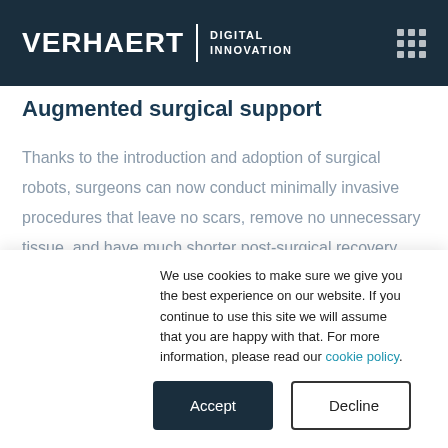[Figure (logo): Verhaert Digital Innovation logo with white text on dark navy background, with a 3x3 grid of dots icon on the right]
Augmented surgical support
Thanks to the introduction and adoption of surgical robots, surgeons can now conduct minimally invasive procedures that leave no scars, remove no unnecessary tissue, and have much shorter post-surgical recovery times. This tech development results in higher surgical accuracy, better post-surgery outcomes, and improved
We use cookies to make sure we give you the best experience on our website. If you continue to use this site we will assume that you are happy with that. For more information, please read our cookie policy.
Accept | Decline